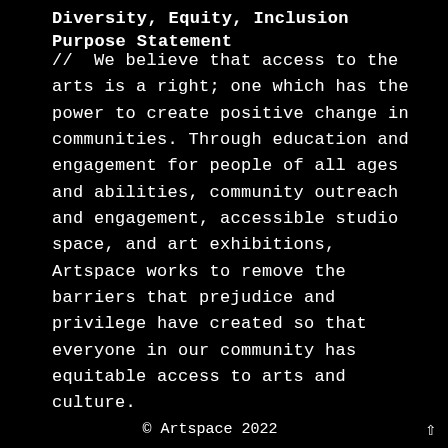Diversity, Equity, Inclusion Purpose Statement
//  We believe that access to the arts is a right; one which has the power to create positive change in communities. Through education and engagement for people of all ages and abilities, community outreach and engagement, accessible studio space, and art exhibitions, Artspace works to remove the barriers that prejudice and privilege have created so that everyone in our community has equitable access to arts and culture.
© Artspace 2022